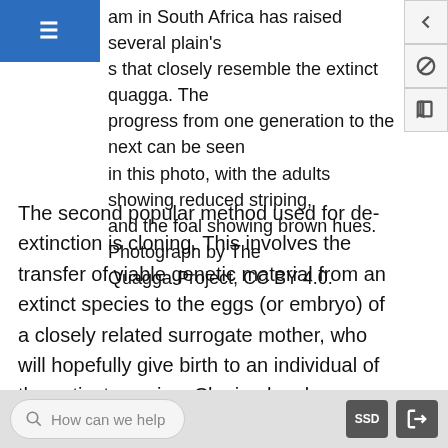am in South Africa has raised several plain's s that closely resemble the extinct quagga. The progress from one generation to the next can be seen in this photo, with the adults showing reduced striping, and the foal showing brown hues. Photograph by The Quagga Project, CC BY 4.0.
The second popular method used for de-extinction is cloning. This involves the transfer of viable genetic material from an extinct species to the eggs (or embryo) of a closely related surrogate mother, who will hopefully give birth to an individual of the extinct species. Cloning has been used in selective breeding of livestock for many years, and plans are also currently underway to use cloning to prevent the extinction of highly threatened species such as the northern white rhinoceros (see Box 11.4). Despite the